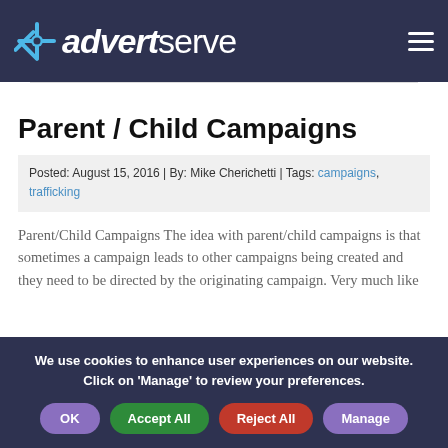advertserve
Parent / Child Campaigns
Posted: August 15, 2016 | By: Mike Cherichetti | Tags: campaigns, trafficking
Parent/Child Campaigns The idea with parent/child campaigns is that sometimes a campaign leads to other campaigns being created and they need to be directed by the originating campaign. Very much like
We use cookies to enhance user experiences on our website. Click on 'Manage' to review your preferences.